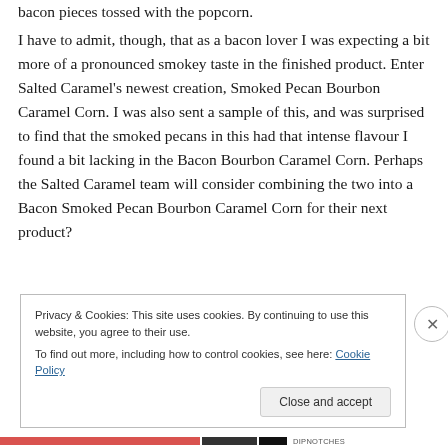bacon pieces tossed with the popcorn.
I have to admit, though, that as a bacon lover I was expecting a bit more of a pronounced smokey taste in the finished product. Enter Salted Caramel's newest creation, Smoked Pecan Bourbon Caramel Corn. I was also sent a sample of this, and was surprised to find that the smoked pecans in this had that intense flavour I found a bit lacking in the Bacon Bourbon Caramel Corn. Perhaps the Salted Caramel team will consider combining the two into a Bacon Smoked Pecan Bourbon Caramel Corn for their next product?
Privacy & Cookies: This site uses cookies. By continuing to use this website, you agree to their use.
To find out more, including how to control cookies, see here: Cookie Policy